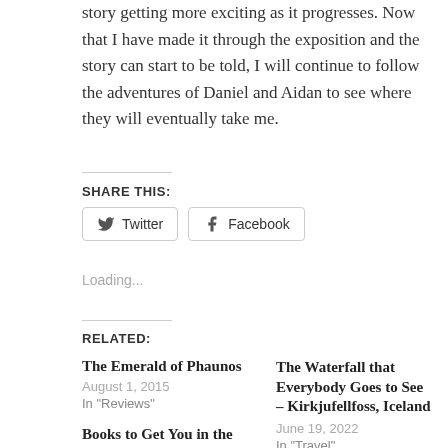story getting more exciting as it progresses. Now that I have made it through the exposition and the story can start to be told, I will continue to follow the adventures of Daniel and Aidan to see where they will eventually take me.
SHARE THIS:
[Figure (other): Twitter and Facebook share buttons]
Loading...
RELATED:
The Emerald of Phaunos
August 1, 2015
In "Reviews"
The Waterfall that Everybody Goes to See – Kirkjufellfoss, Iceland
June 19, 2022
In "Travel"
Books to Get You in the